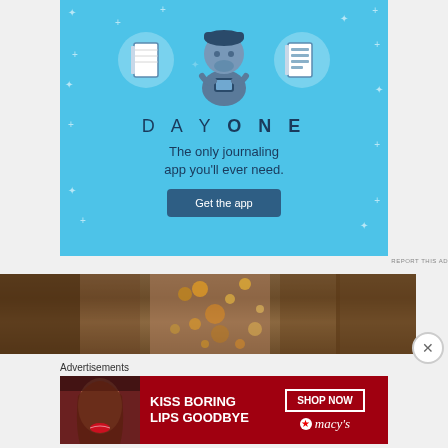[Figure (illustration): Day One journaling app advertisement. Light blue background with sparkle stars. Three circular icons: notebook, person using smartphone, and list/document. Large illustrated person holding a phone in center. Text: DAY ONE - The only journaling app you'll ever need. Button: Get the app.]
REPORT THIS AD
[Figure (photo): Cropped photo of a person with bokeh/sparkle lights effect, warm brown/amber tones with glittering gold dots.]
Advertisements
[Figure (illustration): Macy's advertisement on dark red background. Left side text: KISS BORING LIPS GOODBYE. Right side: SHOP NOW button and macys star logo with text macys.]